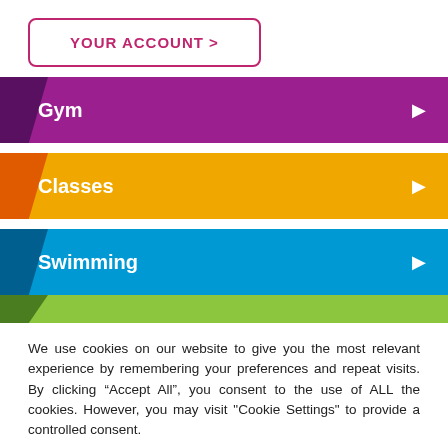YOUR ACCOUNT >
Gym
Classes
Swimming
We use cookies on our website to give you the most relevant experience by remembering your preferences and repeat visits. By clicking “Accept All”, you consent to the use of ALL the cookies. However, you may visit "Cookie Settings" to provide a controlled consent.
Cookie Settings | Accept All